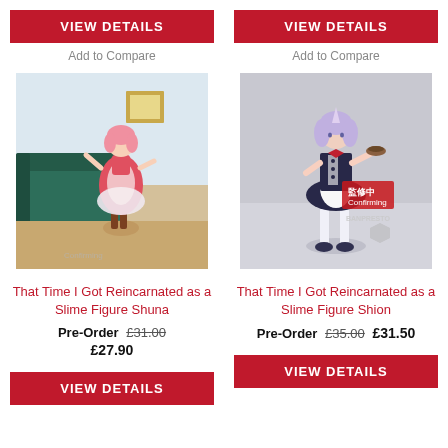VIEW DETAILS
Add to Compare
VIEW DETAILS
Add to Compare
[Figure (photo): Anime figure of Shuna from That Time I Got Reincarnated as a Slime, pink hair, red dress, indoor scene with green sofa]
[Figure (photo): Anime figure of Shion from That Time I Got Reincarnated as a Slime, purple hair, maid outfit, Banpresto confirming watermark]
That Time I Got Reincarnated as a Slime Figure Shuna
That Time I Got Reincarnated as a Slime Figure Shion
Pre-Order £31.00 £27.90
Pre-Order £35.00 £31.50
VIEW DETAILS
VIEW DETAILS